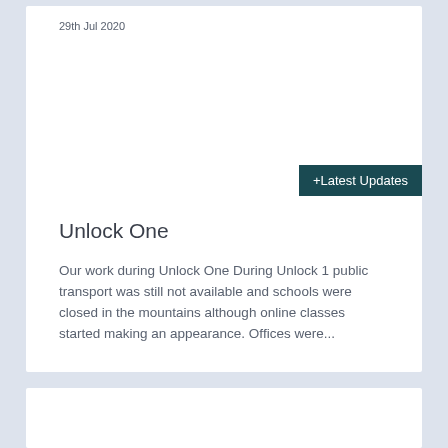29th Jul 2020
+Latest Updates
Unlock One
Our work during Unlock One During Unlock 1 public transport was still not available and schools were closed in the mountains although online classes started making an appearance. Offices were...
25th Jun 2020